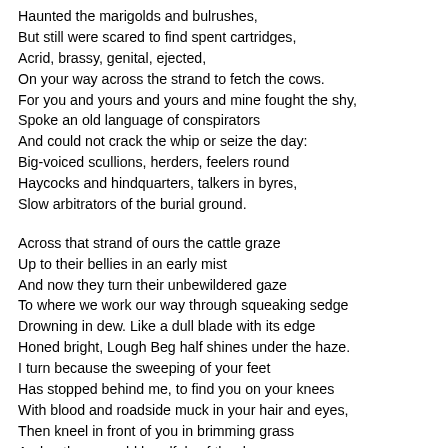Haunted the marigolds and bulrushes,
But still were scared to find spent cartridges,
Acrid, brassy, genital, ejected,
On your way across the strand to fetch the cows.
For you and yours and yours and mine fought the shy,
Spoke an old language of conspirators
And could not crack the whip or seize the day:
Big-voiced scullions, herders, feelers round
Haycocks and hindquarters, talkers in byres,
Slow arbitrators of the burial ground.

Across that strand of ours the cattle graze
Up to their bellies in an early mist
And now they turn their unbewildered gaze
To where we work our way through squeaking sedge
Drowning in dew. Like a dull blade with its edge
Honed bright, Lough Beg half shines under the haze.
I turn because the sweeping of your feet
Has stopped behind me, to find you on your knees
With blood and roadside muck in your hair and eyes,
Then kneel in front of you in brimming grass
And gather up cold handfuls of the dew